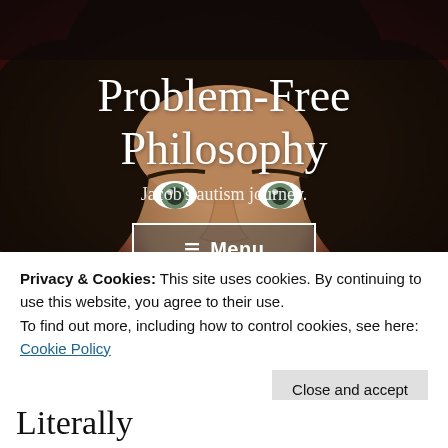[Figure (photo): Close-up portrait of a young man with dark hair and light eyes against a dark red/brown textured background. The photo fills the top portion of the page behind the site title and navigation.]
Problem-Free Philosophy
Jacob's autism journey.
≡ Menu
Privacy & Cookies: This site uses cookies. By continuing to use this website, you agree to their use.
To find out more, including how to control cookies, see here: Cookie Policy
Close and accept
Literally